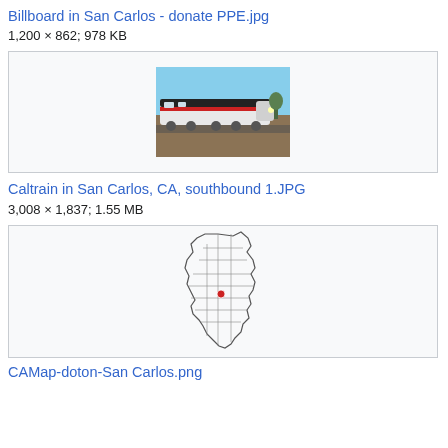Billboard in San Carlos - donate PPE.jpg
1,200 × 862; 978 KB
[Figure (photo): Caltrain locomotive in San Carlos, CA, southbound, gray and white train against blue sky and brown ground]
Caltrain in San Carlos, CA, southbound 1.JPG
3,008 × 1,837; 1.55 MB
[Figure (map): Outline map of California with county lines and a red dot marking San Carlos location]
CAMap-doton-San Carlos.png